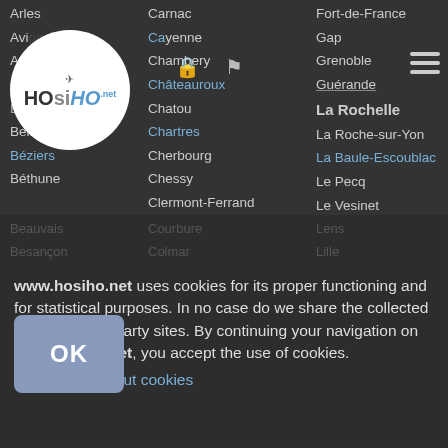[Figure (logo): HOsiHO drone pilots network logo - white circle with drone icon and HOsiHO.net text]
Arles
Avignon
Ajaccio
Bayonne
Bergerac
Belfort
Béziers
Béthune
Carnac
Cayenne
Chambery
Châteauroux
Chatou
Chartres
Cherbourg
Chessy
Clermont-Ferrand
Fort-de-France
Gap
Grenoble
Guérande
La Rochelle
La Roche-sur-Yon
La Baule-Escoublac
Le Pecq
Le Vesinet
Le Havre
Beauvais
Besançon
Courbure
Colmar
Lens
Lille
www.hosiho.net uses cookies for its proper functioning and for statistical purposes. In no case do we share the collected data with third party sites. By continuing your navigation on www.hosiho.net, you accept the use of cookies.
Learn more about cookies
reserved · HOsiHO Drone Pilots Network in France · Legal Information · Privacy Policy